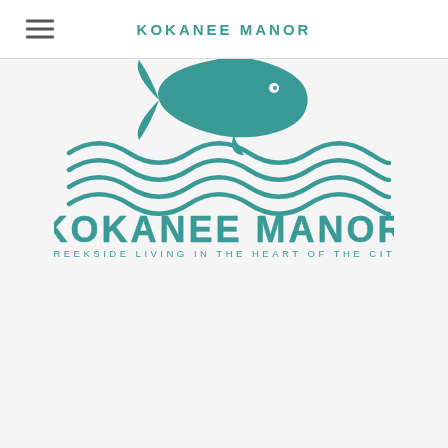KOKANEE MANOR
[Figure (logo): Kokanee Manor logo featuring a salmon fish above wavy water lines with the text 'KOKANEE MANOR' and subtitle 'CREEKSIDE LIVING IN THE HEART OF THE CITY' in teal color]